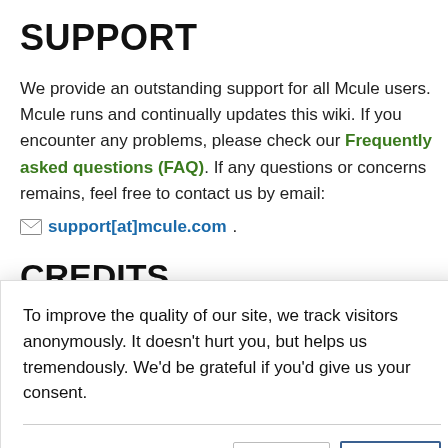SUPPORT
We provide an outstanding support for all Mcule users. Mcule runs and continually updates this wiki. If you encounter any problems, please check our Frequently asked questions (FAQ). If any questions or concerns remains, feel free to contact us by email: support[at]mcule.com.
CREDITS
To improve the quality of our site, we track visitors anonymously. It doesn't hurt you, but helps us tremendously. We'd be grateful if you'd give us your consent.
the following license: CC Attribution-Noncommercial-Share Alike